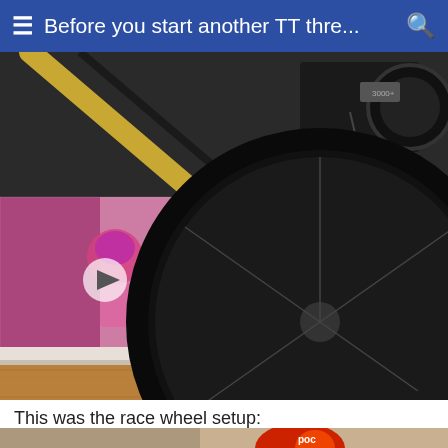≡ Before you start another TT thre... 🔍
[Figure (screenshot): Screenshot of a mobile app/website showing a close-up photo of a racing bicycle wheel on a wooden floor with a white baseboard, partially overlaid by a blurred video thumbnail of a young child in a pink helmet on a bike, and a popup card reading 'Mini Tony Hawk! Meet the 4-Year-old Biker/Unicycler Destined for the X-...' with a close button.]
This was the race wheel setup:
[Figure (photo): Partial photo of cycling gear including what appears to be a helmet with red/orange elements, at the bottom of the page.]